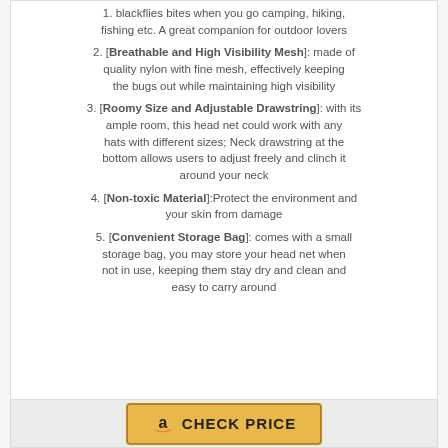blackflies bites when you go camping, hiking, fishing etc. A great companion for outdoor lovers
[Breathable and High Visibility Mesh]: made of quality nylon with fine mesh, effectively keeping the bugs out while maintaining high visibility
[Roomy Size and Adjustable Drawstring]: with its ample room, this head net could work with any hats with different sizes; Neck drawstring at the bottom allows users to adjust freely and clinch it around your neck
[Non-toxic Material]:Protect the environment and your skin from damage
[Convenient Storage Bag]: comes with a small storage bag, you may store your head net when not in use, keeping them stay dry and clean and easy to carry around
[Figure (other): Amazon CHECK PRICE button with Amazon logo icon]